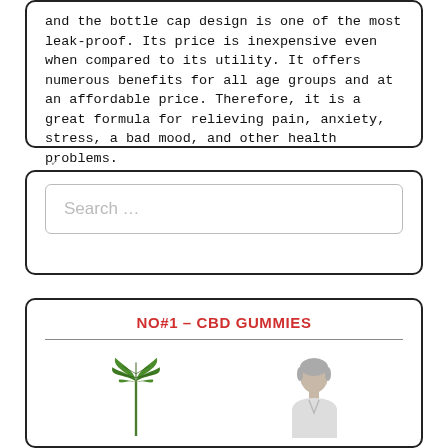and the bottle cap design is one of the most leak-proof. Its price is inexpensive even when compared to its utility. It offers numerous benefits for all age groups and at an affordable price. Therefore, it is a great formula for relieving pain, anxiety, stress, a bad mood, and other health problems.
Search …
NO#1 – CBD GUMMIES
[Figure (illustration): Cannabis leaf illustration on the left and a grey-haired man on the right, partially visible at the bottom of the page.]